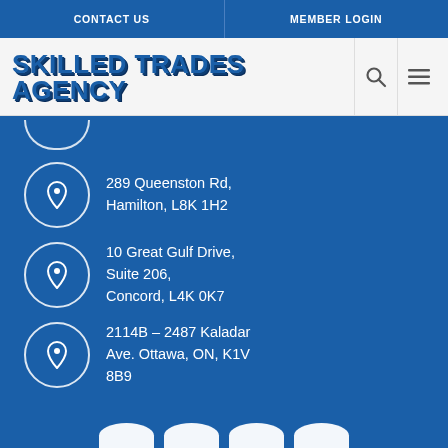CONTACT US | MEMBER LOGIN
SKILLED TRADES AGENCY
289 Queenston Rd, Hamilton, L8K 1H2
10 Great Gulf Drive, Suite 206, Concord, L4K 0K7
2114B – 2487 Kaladar Ave. Ottawa, ON, K1V 8B9